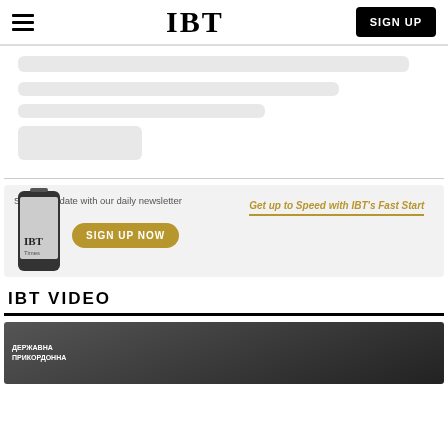IBT
[Figure (screenshot): Loading skeleton placeholders showing gray bars for article content]
[Figure (infographic): Newsletter signup banner with phone image, 'Stay up to date with our daily newsletter', 'SIGN UP NOW' button, and 'Get up to Speed with IBT's Fast Start' text]
IBT VIDEO
[Figure (photo): Video thumbnail showing Ukrainian border guard content with Cyrillic text ДЕРЖАВНА ПРИКОРДОННА]